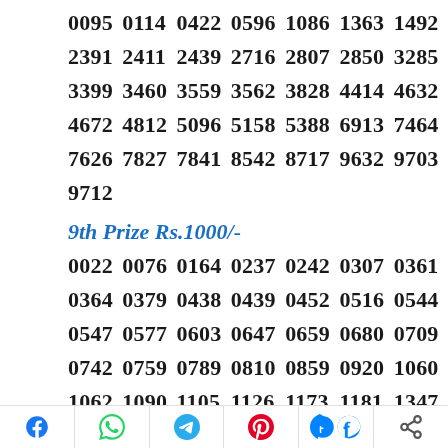0095 0114 0422 0596 1086 1363 1492
2391 2411 2439 2716 2807 2850 3285
3399 3460 3559 3562 3828 4414 4632
4672 4812 5096 5158 5388 6913 7464
7626 7827 7841 8542 8717 9632 9703
9712
9th Prize Rs.1000/-
0022 0076 0164 0237 0242 0307 0361
0364 0379 0438 0439 0452 0516 0544
0547 0577 0603 0647 0659 0680 0709
0742 0759 0789 0810 0859 0920 1060
1062 1090 1105 1126 1173 1181 1347